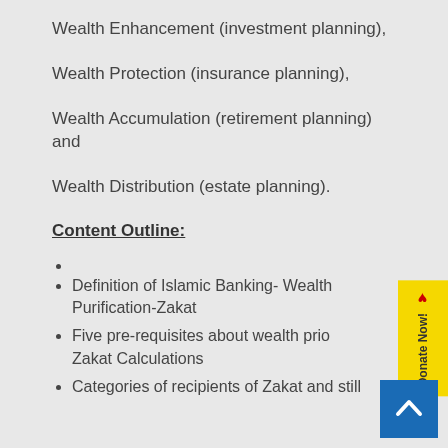Wealth Enhancement (investment planning),
Wealth Protection (insurance planning),
Wealth Accumulation (retirement planning) and
Wealth Distribution (estate planning).
Content Outline:
Definition of Islamic Banking- Wealth Purification-Zakat
Five pre-requisites about wealth prior to Zakat Calculations
Categories of recipients of Zakat and still